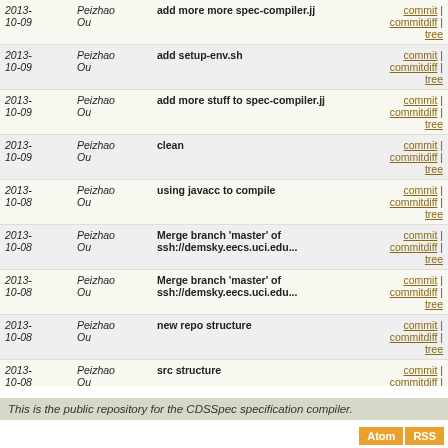| Date | Author | Message | Links |
| --- | --- | --- | --- |
| 2013-10-09 | Peizhao Ou | add more more spec-compiler.jj | commit | commitdiff | tree |
| 2013-10-09 | Peizhao Ou | add setup-env.sh | commit | commitdiff | tree |
| 2013-10-09 | Peizhao Ou | add more stuff to spec-compiler.jj | commit | commitdiff | tree |
| 2013-10-09 | Peizhao Ou | clean | commit | commitdiff | tree |
| 2013-10-08 | Peizhao Ou | using javacc to compile | commit | commitdiff | tree |
| 2013-10-08 | Peizhao Ou | Merge branch 'master' of ssh://demsky.eecs.uci.edu... | commit | commitdiff | tree |
| 2013-10-08 | Peizhao Ou | Merge branch 'master' of ssh://demsky.eecs.uci.edu... | commit | commitdiff | tree |
| 2013-10-08 | Peizhao Ou | new repo structure | commit | commitdiff | tree |
| 2013-10-08 | Peizhao Ou | src structure | commit | commitdiff | tree |
| 2013-10-08 | Peizhao Ou | modification | commit | commitdiff | tree |
| 2013-10-08 | Peizhao Ou | initializing the repo | commit | commitdiff | tree |
This is the public repository for the CDSSpec specification compiler.
Atom  RSS